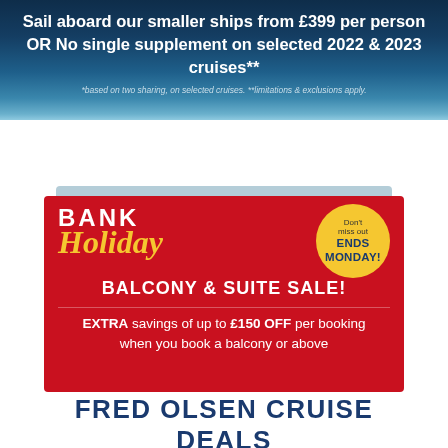[Figure (infographic): Dark blue ocean-themed banner background with white text advertising cruise deals from £399 per person or No single supplement on selected 2022 & 2023 cruises]
Sail aboard our smaller ships from £399 per person OR No single supplement on selected 2022 & 2023 cruises**
*based on two sharing, on selected cruises. **limitations & exclusions apply.
[Figure (infographic): Red Bank Holiday Balcony & Suite Sale promotional card with yellow circle badge saying Don't miss out ENDS MONDAY! and extra savings of up to £150 OFF per booking when you book a balcony or above]
FRED OLSEN CRUISE DEALS
Best price guarantee on Fred. Olsen cruise deals. Book online on our award-winning service